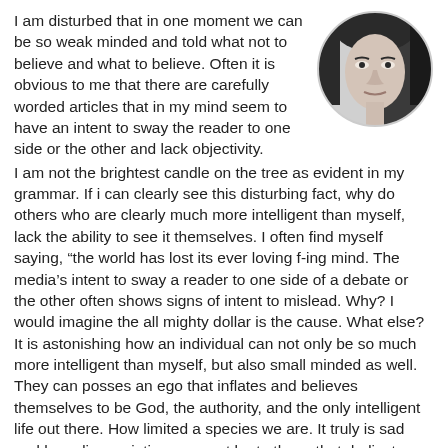[Figure (photo): A circular black-and-white profile photo of a woman in the top right corner of the page]
I am disturbed that in one moment we can be so weak minded and told what not to believe and what to believe. Often it is obvious to me that there are carefully worded articles that in my mind seem to have an intent to sway the reader to one side or the other and lack objectivity. I am not the brightest candle on the tree as evident in my grammar. If i can clearly see this disturbing fact, why do others who are clearly much more intelligent than myself, lack the ability to see it themselves. I often find myself saying, “the world has lost its ever loving f-ing mind. The media’s intent to sway a reader to one side of a debate or the other often shows signs of intent to mislead. Why? I would imagine the all mighty dollar is the cause. What else? It is astonishing how an individual can not only be so much more intelligent than myself, but also small minded as well. They can posses an ego that inflates and believes themselves to be God, the authority, and the only intelligent life out there. How limited a species we are. It truly is sad and how disappointing we must be to those that dedicate their life to loving the many souls on this rock and encouraging their growth. They in turn act like